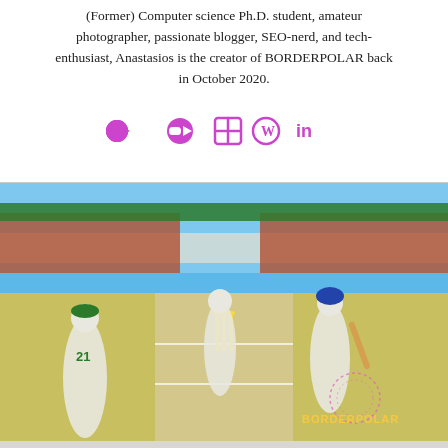(Former) Computer science Ph.D. student, amateur photographer, passionate blogger, SEO-nerd, and tech-enthusiast, Anastasios is the creator of BORDERPOLAR back in October 2020.
[Figure (other): Four social media icons in purple/magenta: Medium video icon, grid/table icon, WordPress icon, and LinkedIn icon]
[Figure (photo): A cricket video game screenshot showing players on a cricket pitch with stadium crowd in the background. A BORDERPOLAR watermark logo appears in the bottom right corner.]